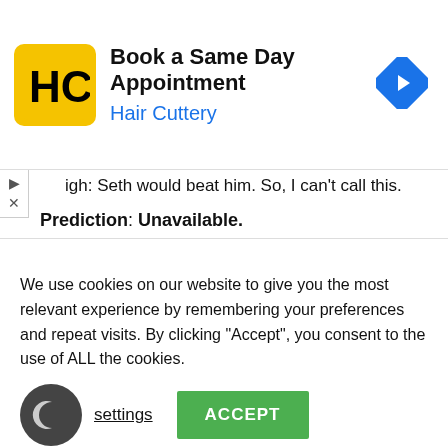[Figure (screenshot): Ad banner for Hair Cuttery with logo, text 'Book a Same Day Appointment', 'Hair Cuttery', and a blue navigation arrow icon]
igh: Seth would beat him. So, I can't call this.
Prediction: Unavailable.
Drew McIntyre VS Happy Corbin
[Figure (photo): Three wrestlers (Drew McIntyre, Happy Corbin, and another) posed against a dark blue background]
We use cookies on our website to give you the most relevant experience by remembering your preferences and repeat visits. By clicking "Accept", you consent to the use of ALL the cookies.
settings
ACCEPT